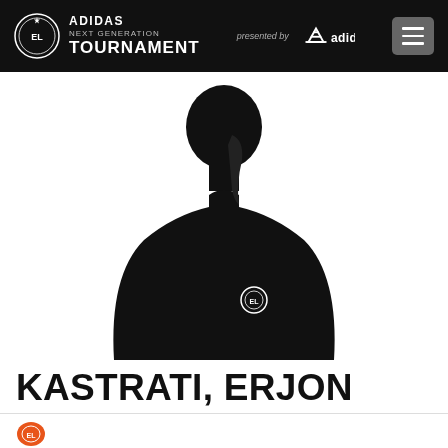ADIDAS NEXT GENERATION TOURNAMENT presented by adidas
[Figure (photo): Silhouette of a basketball player in black against white background, wearing a jersey with the EuroLeague logo visible on the chest]
KASTRATI, ERJON